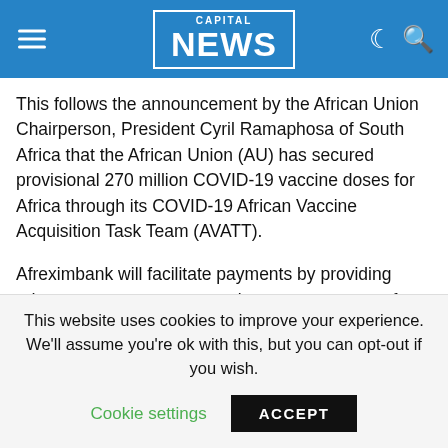CAPITAL NEWS
This follows the announcement by the African Union Chairperson, President Cyril Ramaphosa of South Africa that the African Union (AU) has secured provisional 270 million COVID-19 vaccine doses for Africa through its COVID-19 African Vaccine Acquisition Task Team (AVATT).
Afreximbank will facilitate payments by providing advance procurement commitment guarantees of up to US$2 billion to the manufacturers on behalf of the member states.
AVATT has secured a provisional 270 million COVID-19 vaccines doses from Pfizer, Johnson & Johnson and AstraZeneca.
Speaking in Johannesburg, South Africa, African Union Special
This website uses cookies to improve your experience. We'll assume you're ok with this, but you can opt-out if you wish. Cookie settings ACCEPT